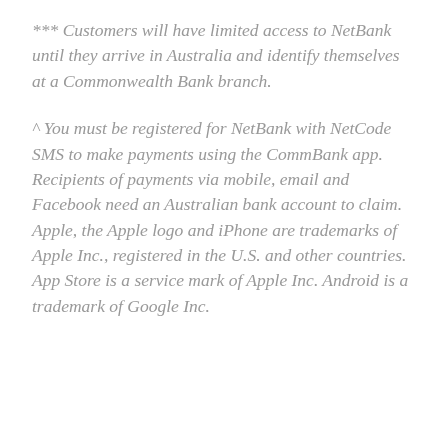*** Customers will have limited access to NetBank until they arrive in Australia and identify themselves at a Commonwealth Bank branch.
^ You must be registered for NetBank with NetCode SMS to make payments using the CommBank app. Recipients of payments via mobile, email and Facebook need an Australian bank account to claim. Apple, the Apple logo and iPhone are trademarks of Apple Inc., registered in the U.S. and other countries. App Store is a service mark of Apple Inc. Android is a trademark of Google Inc.